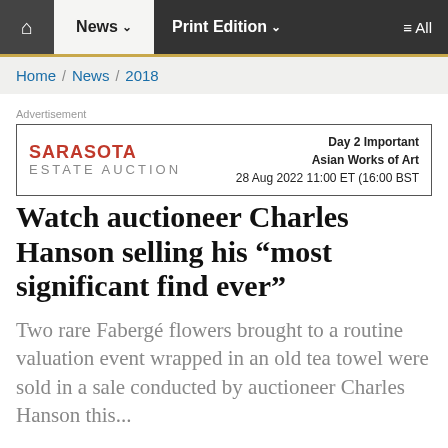News | Print Edition | All
Home / News / 2018
[Figure (other): Sarasota Estate Auction advertisement: 'Day 2 Important Asian Works of Art, 28 Aug 2022 11:00 ET (16:00 BST)']
Watch auctioneer Charles Hanson selling his “most significant find ever”
Two rare Fabergé flowers brought to a routine valuation event wrapped in an old tea towel were sold in a sale conducted by auctioneer Charles Hanson this...